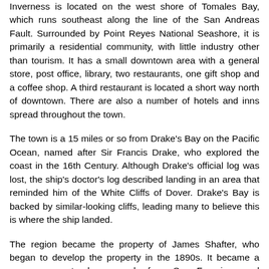Inverness is located on the west shore of Tomales Bay, which runs southeast along the line of the San Andreas Fault. Surrounded by Point Reyes National Seashore, it is primarily a residential community, with little industry other than tourism. It has a small downtown area with a general store, post office, library, two restaurants, one gift shop and a coffee shop. A third restaurant is located a short way north of downtown. There are also a number of hotels and inns spread throughout the town.
The town is a 15 miles or so from Drake's Bay on the Pacific Ocean, named after Sir Francis Drake, who explored the coast in the 16th Century. Although Drake's official log was lost, the ship's doctor's log described landing in an area that reminded him of the White Cliffs of Dover. Drake's Bay is backed by similar-looking cliffs, leading many to believe this is where the ship landed.
The region became the property of James Shafter, who began to develop the property in the 1890s. It became a summer resort where people from San Francisco and Oakland came to camp, hike and swim in Tomales Bay. Many built small summer cabins that still exist today. Small steamboats took day trippers down the bay to secluded beaches. They left from Brock Schreiber's